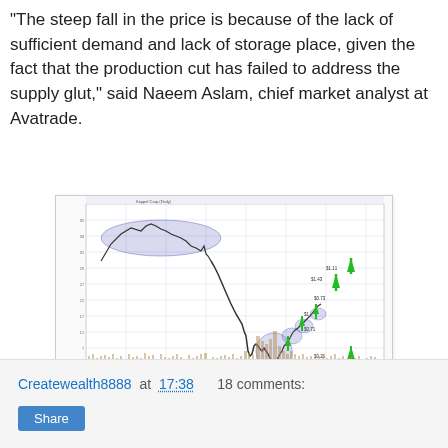“The steep fall in the price is because of the lack of sufficient demand and lack of storage place, given the fact that the production cut has failed to address the supply glut,” said Naeem Aslam, chief market analyst at Avatrade.
[Figure (continuous-plot): Stock chart for Keppel Corp (Daily) showing a price decline with annotated green upward arrows marking support/accumulation zones, and blue shaded ellipses highlighting resistance and base-building areas. Volume bars appear at the bottom. The chart spans multiple years and shows a sharp drop followed by a recovery attempt.]
Createwealth8888 at 17:38    18 comments:
Share